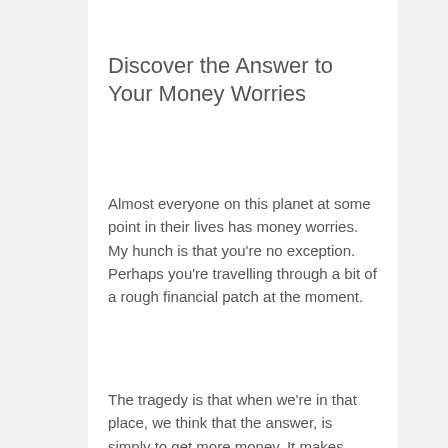Discover the Answer to Your Money Worries
Almost everyone on this planet at some point in their lives has money worries. My hunch is that you're no exception. Perhaps you're travelling through a bit of a rough financial patch at the moment.
The tragedy is that when we're in that place, we think that the answer, is simply to get more money. It makes sense. It's logical. Ask anybody and they'll tell you that it's the right answer.